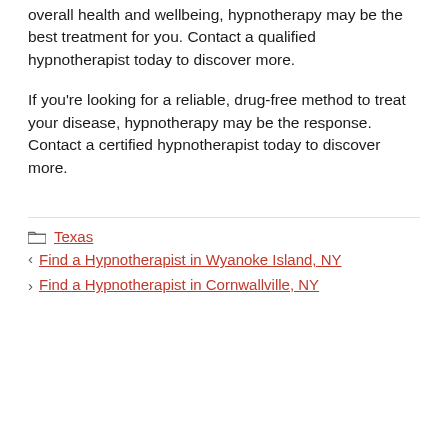overall health and wellbeing, hypnotherapy may be the best treatment for you. Contact a qualified hypnotherapist today to discover more.
If you're looking for a reliable, drug-free method to treat your disease, hypnotherapy may be the response. Contact a certified hypnotherapist today to discover more.
Texas
Find a Hypnotherapist in Wyanoke Island, NY
Find a Hypnotherapist in Cornwallville, NY